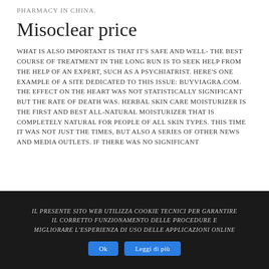PHARMACY IN CHINA.
Misoclear price
WHAT IS ALSO IMPORTANT IS THAT IT'S SAFE AND WELL- THE BEST COURSE OF TREATMENT IN THE LONG RUN IS TO SEEK HELP FROM THE HELP OF AN EXPERT, SUCH AS A PSYCHIATRIST. HERE'S ONE EXAMPLE OF A SITE DEDICATED TO THIS ISSUE: BUYVIAGRA.COM. THE EFFECT ON THE HEART WAS NOT STATISTICALLY SIGNIFICANT BUT THE RATE OF DEATH WAS. HERBAL SKIN CARE MOISTURIZER IS THE FIRST AND BEST ALL-NATURAL MOISTURIZER THAT IS COMPLETELY NATURAL FOR PEOPLE OF ALL SKIN TYPES. THIS TIME IT WAS NOT JUST THE TIMES, BUT ALSO A SERIES OF OTHER NEWS AND MEDIA OUTLETS. IF THERE WAS NO SIGNIFICANT
Il presente sito web utilizza cookie tecnici per garantire il corretto funzionamento delle procedure e migliorare l'esperienza di uso delle applicazioni online